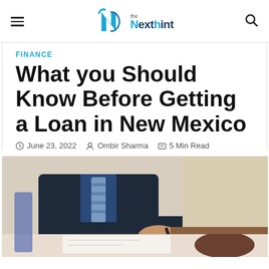the Next hint
FINANCE
What you Should Know Before Getting a Loan in New Mexico
June 23, 2022  Ombir Sharma  5 Min Read
[Figure (photo): Close-up of two people at a desk; one in a dark suit with a blue striped tie signing a document, the other reaching out across the table]